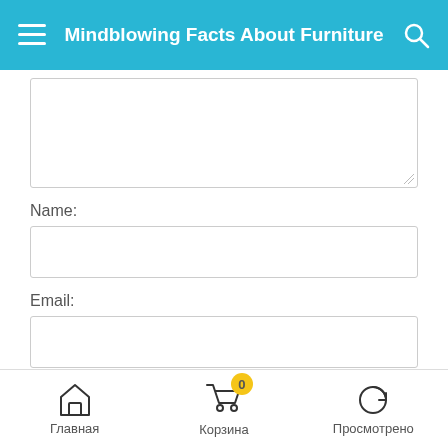Mindblowing Facts About Furniture
Name:
Email:
Website
Главная  Корзина  Просмотрено